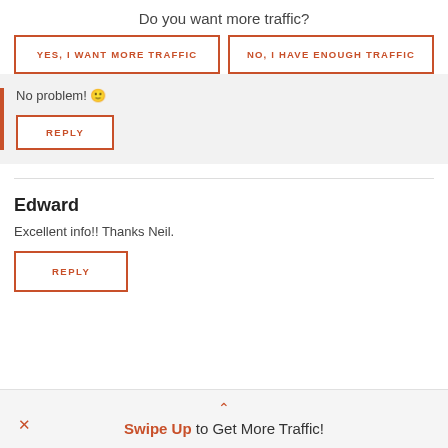Do you want more traffic?
YES, I WANT MORE TRAFFIC
NO, I HAVE ENOUGH TRAFFIC
No problem! 🙂
REPLY
Edward
Excellent info!! Thanks Neil.
REPLY
Swipe Up to Get More Traffic!